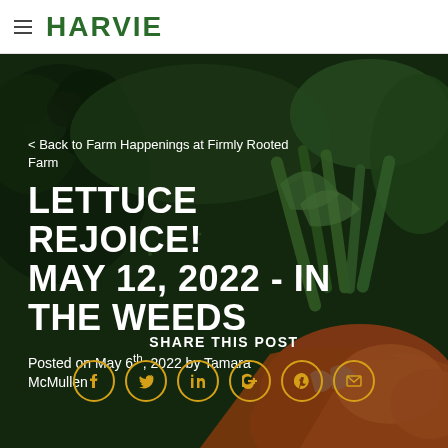HARVIE
[Figure (photo): Dark background photo of fresh vegetables including broccoli, green beans, peppers, snap peas, and carrots/orange vegetables]
< Back to Farm Happenings at Firmly Rooted Farm
LETTUCE REJOICE! MAY 12, 2022 - IN THE WEEDS
Posted on May 6th, 2022 by Tamara McMullen
SHARE THIS POST